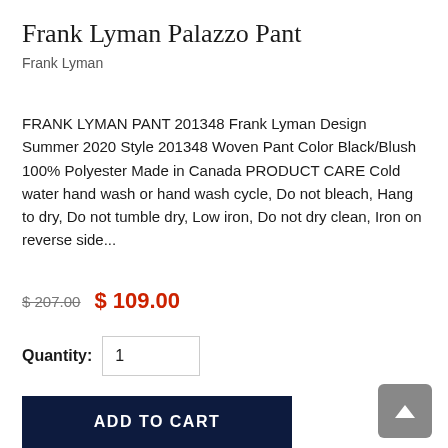Frank Lyman Palazzo Pant
Frank Lyman
FRANK LYMAN PANT 201348 Frank Lyman Design Summer 2020 Style 201348 Woven Pant Color Black/Blush 100% Polyester Made in Canada PRODUCT CARE Cold water hand wash or hand wash cycle, Do not bleach, Hang to dry, Do not tumble dry, Low iron, Do not dry clean, Iron on reverse side...
$ 207.00  $ 109.00
Quantity: 1
Subtotal:  $ 109.00
ADD TO CART